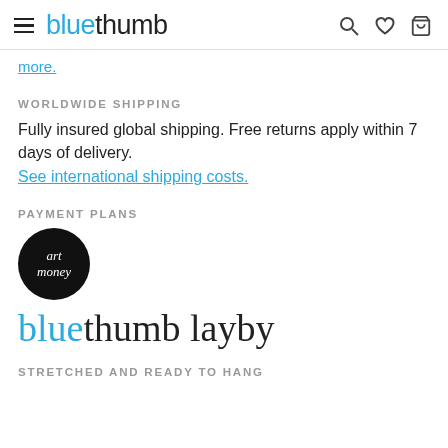bluethumb
more.
WORLDWIDE SHIPPING
Fully insured global shipping. Free returns apply within 7 days of delivery.
See international shipping costs.
PAYMENT PLANS
[Figure (logo): Art Money circular black logo with white text]
[Figure (logo): bluethumb layby logo in blue and black text]
STRETCHED AND READY TO HANG